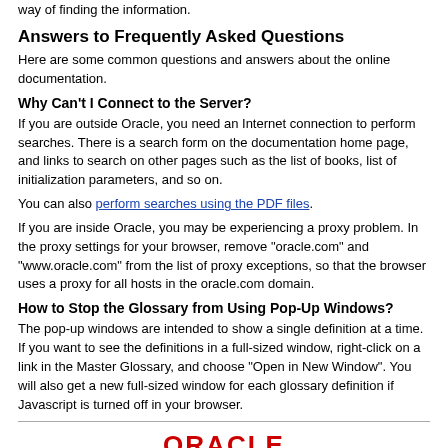way of finding the information.
Answers to Frequently Asked Questions
Here are some common questions and answers about the online documentation.
Why Can't I Connect to the Server?
If you are outside Oracle, you need an Internet connection to perform searches. There is a search form on the documentation home page, and links to search on other pages such as the list of books, list of initialization parameters, and so on.
You can also perform searches using the PDF files.
If you are inside Oracle, you may be experiencing a proxy problem. In the proxy settings for your browser, remove "oracle.com" and "www.oracle.com" from the list of proxy exceptions, so that the browser uses a proxy for all hosts in the oracle.com domain.
How to Stop the Glossary from Using Pop-Up Windows?
The pop-up windows are intended to show a single definition at a time. If you want to see the definitions in a full-sized window, right-click on a link in the Master Glossary, and choose "Open in New Window". You will also get a new full-sized window for each glossary definition if Javascript is turned off in your browser.
[Figure (logo): Oracle logo in red text]